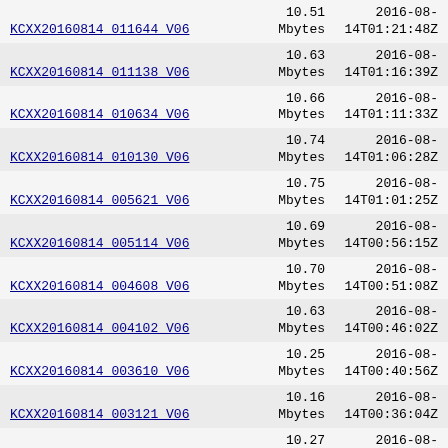| Name | Size | Date |
| --- | --- | --- |
| KCXX20160814 011644 V06 | 10.51 Mbytes | 2016-08-14T01:21:48Z |
| KCXX20160814 011138 V06 | 10.63 Mbytes | 2016-08-14T01:16:39Z |
| KCXX20160814 010634 V06 | 10.66 Mbytes | 2016-08-14T01:11:33Z |
| KCXX20160814 010130 V06 | 10.74 Mbytes | 2016-08-14T01:06:28Z |
| KCXX20160814 005621 V06 | 10.75 Mbytes | 2016-08-14T01:01:25Z |
| KCXX20160814 005114 V06 | 10.69 Mbytes | 2016-08-14T00:56:15Z |
| KCXX20160814 004608 V06 | 10.70 Mbytes | 2016-08-14T00:51:08Z |
| KCXX20160814 004102 V06 | 10.63 Mbytes | 2016-08-14T00:46:02Z |
| KCXX20160814 003610 V06 | 10.25 Mbytes | 2016-08-14T00:40:56Z |
| KCXX20160814 003121 V06 | 10.16 Mbytes | 2016-08-14T00:36:04Z |
| KCXX20160814 002615 V06 | 10.27 Mbytes | 2016-08-14T00:31:15Z |
| KCXX20160814 002615 V06 | 10.18 Mbytes | 2016-08-14T... |